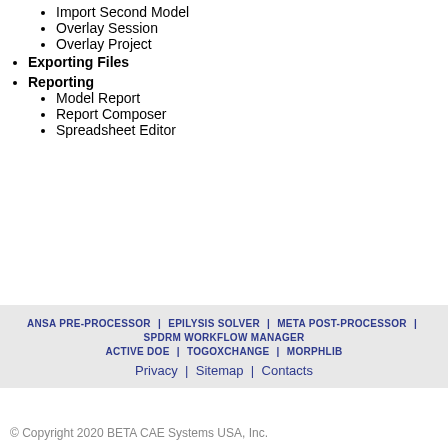Import Second Model
Overlay Session
Overlay Project
Exporting Files
Reporting
Model Report
Report Composer
Spreadsheet Editor
ANSA PRE-PROCESSOR | EPILYSIS SOLVER | META POST-PROCESSOR | SPDRM WORKFLOW MANAGER ACTIVE DOE | TOGOXchange | MORPHLib Privacy | Sitemap | Contacts
© Copyright 2020 BETA CAE Systems USA, Inc.